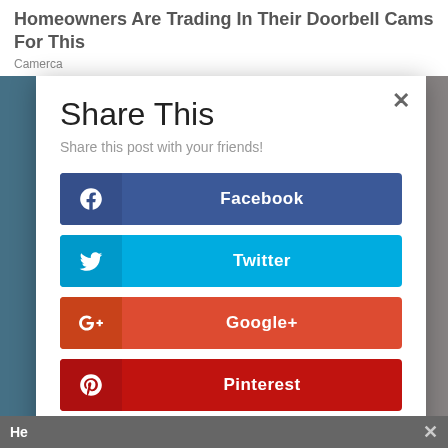Homeowners Are Trading In Their Doorbell Cams For This
Camerca
Share This
Share this post with your friends!
Facebook
Twitter
Google+
Pinterest
reddit
LinkedIn
He